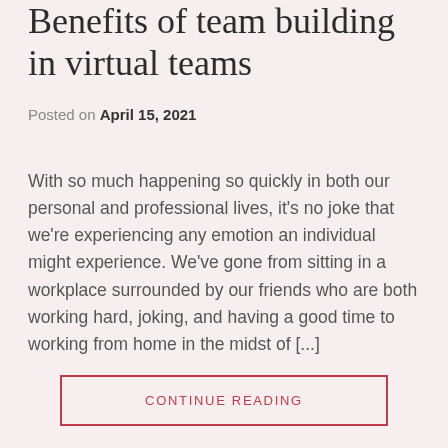Benefits of team building in virtual teams
Posted on April 15, 2021
With so much happening so quickly in both our personal and professional lives, it’s no joke that we’re experiencing any emotion an individual might experience. We’ve gone from sitting in a workplace surrounded by our friends who are both working hard, joking, and having a good time to working from home in the midst of [...]
CONTINUE READING